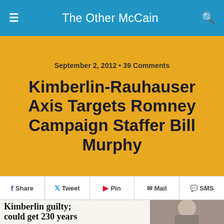The Other McCain
September 2, 2012 • 39 Comments
Kimberlin-Rauhauser Axis Targets Romney Campaign Staffer Bill Murphy
Share  Tweet  Pin  Mail  SMS
[Figure (photo): Newspaper clipping with headline 'Kimberlin guilty; could get 230 years' showing a group photo and a mugshot of a man]